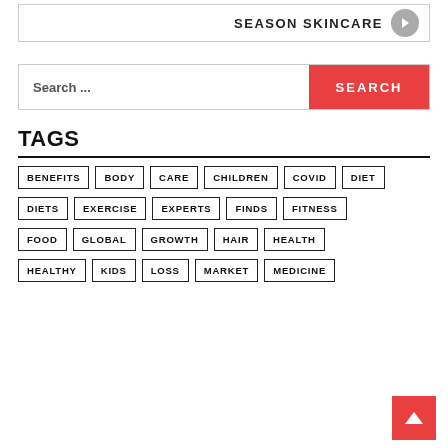SEASON SKINCARE
Search ...
TAGS
BENEFITS
BODY
CARE
CHILDREN
COVID
DIET
DIETS
EXERCISE
EXPERTS
FINDS
FITNESS
FOOD
GLOBAL
GROWTH
HAIR
HEALTH
HEALTHY
KIDS
LOSS
MARKET
MEDICINE